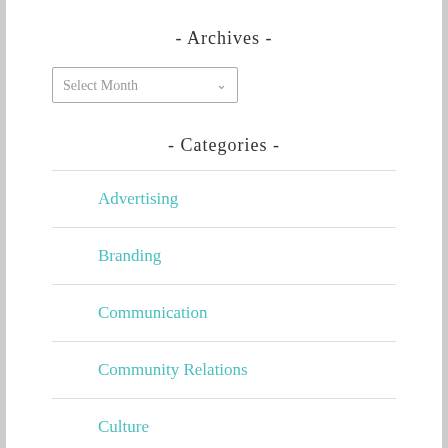- Archives -
Select Month
- Categories -
Advertising
Branding
Communication
Community Relations
Culture
Counsel (partial)